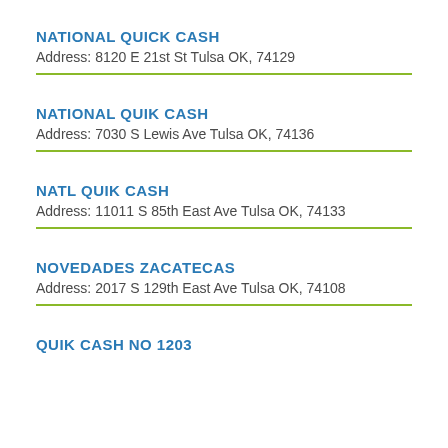NATIONAL QUICK CASH
Address: 8120 E 21st St Tulsa OK, 74129
NATIONAL QUIK CASH
Address: 7030 S Lewis Ave Tulsa OK, 74136
NATL QUIK CASH
Address: 11011 S 85th East Ave Tulsa OK, 74133
NOVEDADES ZACATECAS
Address: 2017 S 129th East Ave Tulsa OK, 74108
QUIK CASH NO 1203